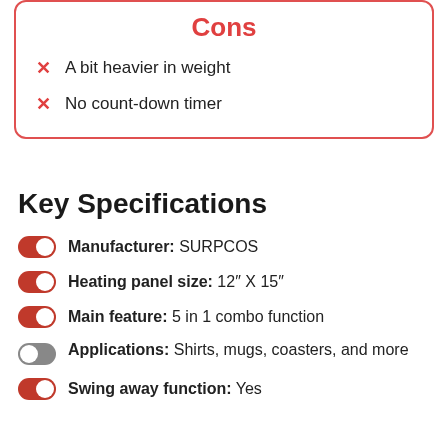Cons
A bit heavier in weight
No count-down timer
Key Specifications
Manufacturer: SURPCOS
Heating panel size: 12" X 15"
Main feature: 5 in 1 combo function
Applications: Shirts, mugs, coasters, and more
Swing away function: Yes